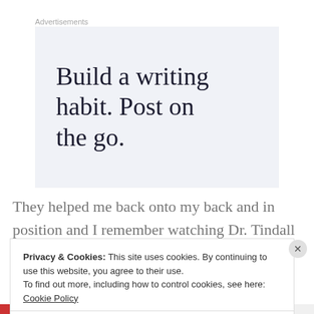Advertisements
[Figure (other): Advertisement banner with text 'Build a writing habit. Post on the go.' on a light blue-grey background]
They helped me back onto my back and in position and I remember watching Dr. Tindall suit up and thinking,
Privacy & Cookies: This site uses cookies. By continuing to use this website, you agree to their use. To find out more, including how to control cookies, see here: Cookie Policy
Close and accept